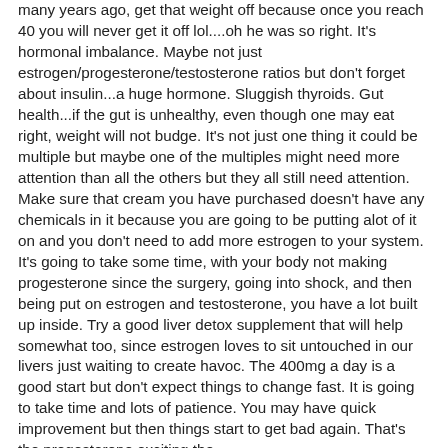many years ago, get that weight off because once you reach 40 you will never get it off lol....oh he was so right. It's hormonal imbalance. Maybe not just estrogen/progesterone/testosterone ratios but don't forget about insulin...a huge hormone. Sluggish thyroids. Gut health...if the gut is unhealthy, even though one may eat right, weight will not budge. It's not just one thing it could be multiple but maybe one of the multiples might need more attention than all the others but they all still need attention. Make sure that cream you have purchased doesn't have any chemicals in it because you are going to be putting alot of it on and you don't need to add more estrogen to your system. It's going to take some time, with your body not making progesterone since the surgery, going into shock, and then being put on estrogen and testosterone, you have a lot built up inside. Try a good liver detox supplement that will help somewhat too, since estrogen loves to sit untouched in our livers just waiting to create havoc. The 400mg a day is a good start but don't expect things to change fast. It is going to take time and lots of patience. You may have quick improvement but then things start to get bad again. That's the progesterone exciting the